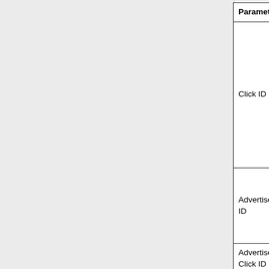| Parameter | Name In Request | Description |
| --- | --- | --- |
| Click ID | tt_cid | Taptica Internal unique click ID which was sent on the click URL |
| Advertiser ID | tt_adv_id | Taptica internal unique advertiser id will be provided to the advertiser in the integration process. |
| Advertiser Click ID | tt_adv_sub | The advertiser unique conversion ID |